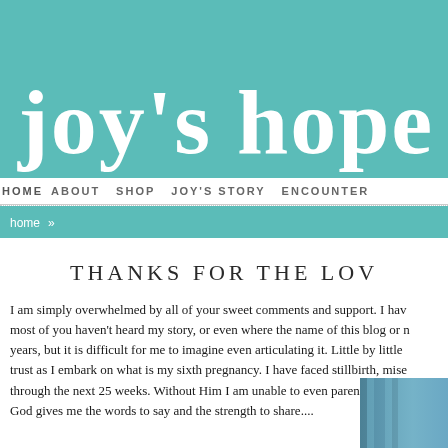joy's hope
HOME   ABOUT   SHOP   JOY'S STORY   ENCOUNTER
home »
THANKS FOR THE LOV
I am simply overwhelmed by all of your sweet comments and support.  I have most of you haven't heard my story, or even where the name of this blog or n years, but it is difficult for me to imagine even articulating it.  Little by little trust as I embark on what is my sixth pregnancy.  I have faced stillbirth, mise through the next 25 weeks.  Without Him I am unable to even parent my girls God gives me the words to say and the strength to share....
[Figure (photo): Partial photo visible in bottom-right corner, appears to show dark vertical stripes or bars on a blue/teal background]